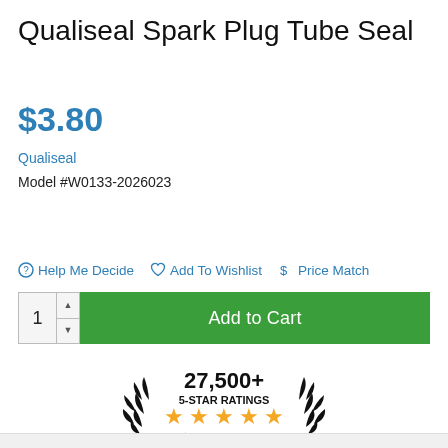Qualiseal Spark Plug Tube Seal
$3.80
Qualiseal
Model #W0133-2026023
⊘ Help Me Decide  ♡ Add To Wishlist  $ Price Match
[Figure (screenshot): Add to Cart button with quantity selector showing '1' and green Add to Cart button]
[Figure (logo): 27,500+ 5-STAR RATINGS badge with five gold stars and Shopper Approved logo with laurel wreath]